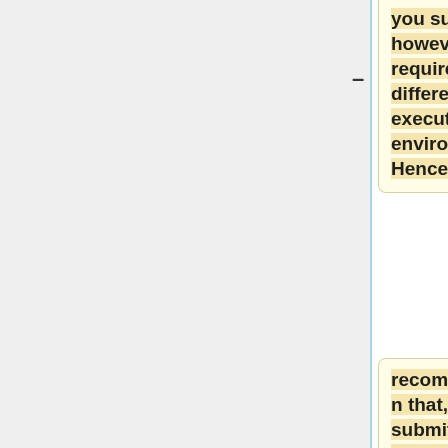you submit, however, may require a different execution environment. Hence the
recommendation that, in submitting jobs, specify the creation of a new login shell and within the job explicitly customize the environment as needed.
A new login shell per job is initialized by specifying the